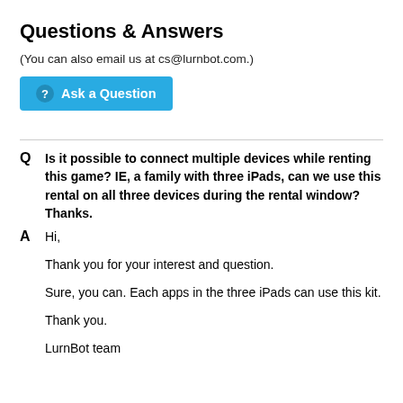Questions & Answers
(You can also email us at cs@lurnbot.com.)
Ask a Question
Q  Is it possible to connect multiple devices while renting this game? IE, a family with three iPads, can we use this rental on all three devices during the rental window? Thanks.
A  Hi,

Thank you for your interest and question.

Sure, you can. Each apps in the three iPads can use this kit.

Thank you.

LurnBot team